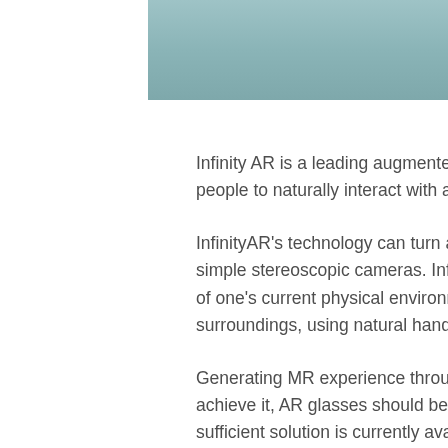[Figure (other): Grayish-teal colored header bar/banner image spanning the upper portion of the page]
Infinity AR is a leading augmented reality company, enabling people to naturally interact with augmented environments.
InfinityAR's technology can turn any device equipped with simple stereoscopic cameras. InfinityAR's algorithms are aware of one's current physical environment. The user can interact with surroundings, using natural hand movements.
Generating MR experience through AR Glasses: In order to achieve it, AR glasses should be equipped with depth cameras. No sufficient solution is currently available.